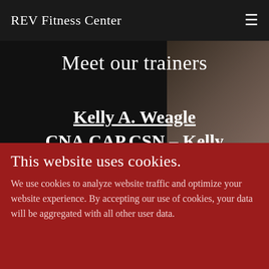REV Fitness Center
Meet our trainers
Kelly A. Weagle CNA,CAP,CSN – Kelly has been teaching groupX
This website uses cookies.
We use cookies to analyze website traffic and optimize your website experience. By accepting our use of cookies, your data will be aggregated with all other user data.